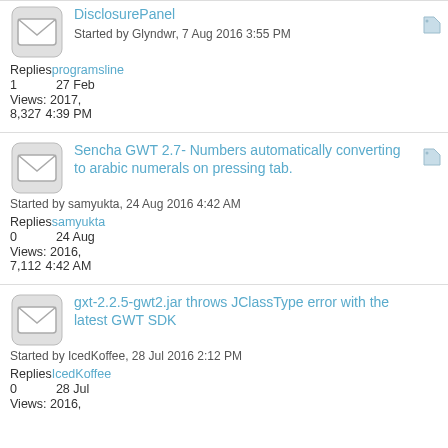DisclosurePanel
Started by Glyndwr, 7 Aug 2016 3:55 PM
Replies: 1  programsline  27 Feb 2017, 4:39 PM
Views: 8,327
Sencha GWT 2.7- Numbers automatically converting to arabic numerals on pressing tab.
Started by samyukta, 24 Aug 2016 4:42 AM
Replies: 0  samyukta  24 Aug 2016, 4:42 AM
Views: 7,112
gxt-2.2.5-gwt2.jar throws JClassType error with the latest GWT SDK
Started by IcedKoffee, 28 Jul 2016 2:12 PM
Replies: 0  IcedKoffee  28 Jul
Views: 2016,